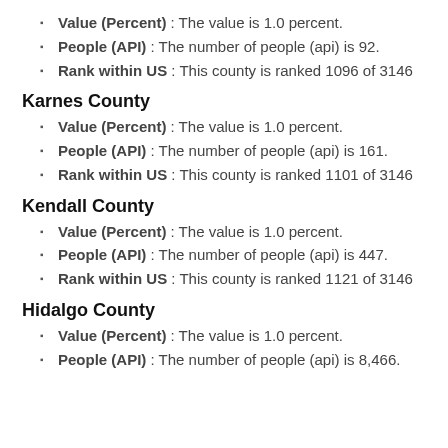Value (Percent) : The value is 1.0 percent.
People (API) : The number of people (api) is 92.
Rank within US : This county is ranked 1096 of 3146
Karnes County
Value (Percent) : The value is 1.0 percent.
People (API) : The number of people (api) is 161.
Rank within US : This county is ranked 1101 of 3146
Kendall County
Value (Percent) : The value is 1.0 percent.
People (API) : The number of people (api) is 447.
Rank within US : This county is ranked 1121 of 3146
Hidalgo County
Value (Percent) : The value is 1.0 percent.
People (API) : The number of people (api) is 8,466.